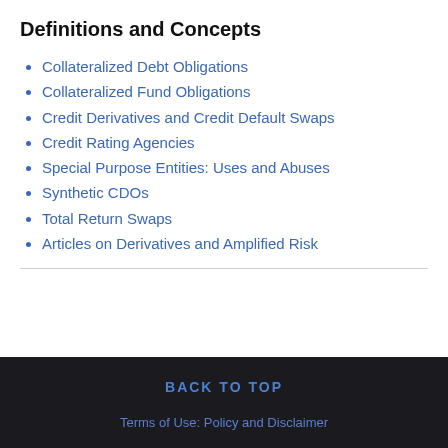Definitions and Concepts
Collateralized Debt Obligations
Collateralized Fund Obligations
Credit Derivatives and Credit Default Swaps
Credit Rating Agencies
Special Purpose Entities: Uses and Abuses
Synthetic CDOs
Total Return Swaps
Articles on Derivatives and Amplified Risk
BACK TO TOP
Terms of Use: Policy and Disclaimer